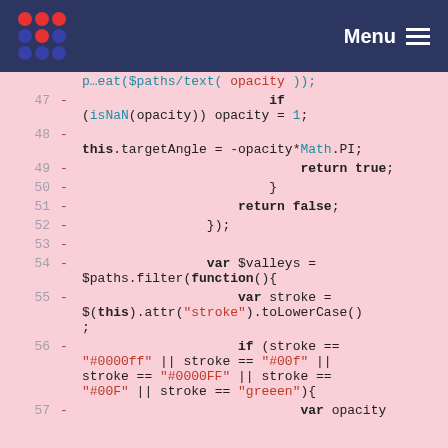Menu
[Figure (screenshot): Code diff view showing JavaScript lines 47-57 with removed lines (marked with -) on a pink background. Lines include conditional logic for opacity, targetAngle, return statements, $valleys variable, $paths.filter function, stroke attribute checks for color strings.]